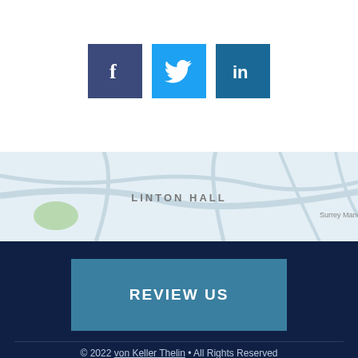[Figure (other): Social media icons: Facebook (dark blue), Twitter (light blue), LinkedIn (medium blue)]
[Figure (map): Map background showing Linton Hall area with roads and neighborhood labels]
REVIEW US
© 2022 von Keller Thelin • All Rights Reserved
Disclaimer | Site Map | Privacy Policy | Business Development Solutions by FindLaw, part of Thomson